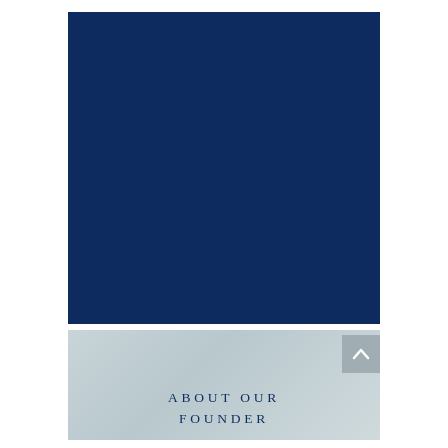[Figure (photo): Dark navy blue rectangular photo area — portrait/headshot placeholder area with solid dark navy blue fill]
[Figure (other): Light gray-blue gradient panel at the bottom of the page with an up-arrow navigation button in the top-right corner]
ABOUT OUR FOUNDER